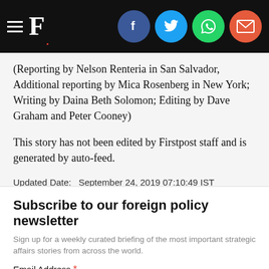[Figure (other): Firstpost website navigation bar with hamburger menu, F. logo, and social sharing icons for Facebook, Twitter, WhatsApp, and Email]
(Reporting by Nelson Renteria in San Salvador, Additional reporting by Mica Rosenberg in New York; Writing by Daina Beth Solomon; Editing by Dave Graham and Peter Cooney)
This story has not been edited by Firstpost staff and is generated by auto-feed.
Updated Date:   September 24, 2019 07:10:49 IST
TAGS:   Reuters
Subscribe to our foreign policy newsletter
Sign up for a weekly curated briefing of the most important strategic affairs stories from across the world.
Email Address *